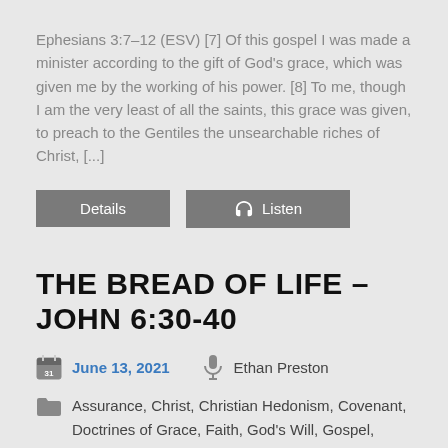Ephesians 3:7–12 (ESV) [7] Of this gospel I was made a minister according to the gift of God's grace, which was given me by the working of his power. [8] To me, though I am the very least of all the saints, this grace was given, to preach to the Gentiles the unsearchable riches of Christ, [...]
THE BREAD OF LIFE – JOHN 6:30-40
June 13, 2021   Ethan Preston
Assurance, Christ, Christian Hedonism, Covenant, Doctrines of Grace, Faith, God's Will, Gospel,